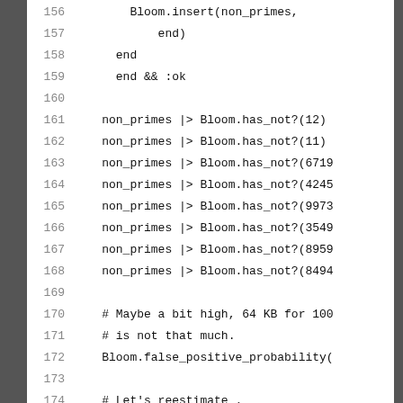Code listing lines 156-177 showing Elixir Bloom filter code
156    Bloom.insert(non_primes,
157        end)
158      end
159      end && :ok
160
161      non_primes |> Bloom.has_not?(12)
162      non_primes |> Bloom.has_not?(11)
163      non_primes |> Bloom.has_not?(6719
164      non_primes |> Bloom.has_not?(4245
165      non_primes |> Bloom.has_not?(9973
166      non_primes |> Bloom.has_not?(3549
167      non_primes |> Bloom.has_not?(8959
168      non_primes |> Bloom.has_not?(8494
169
170      # Maybe a bit high, 64 KB for 100
171      # is not that much.
172      Bloom.false_positive_probability(
173
174      # Let's reestimate .
175      # There are 9_592 primes below 10
176      # should yield about 100_000 - 9_
177      Bloom.estimate_count(non_primes,